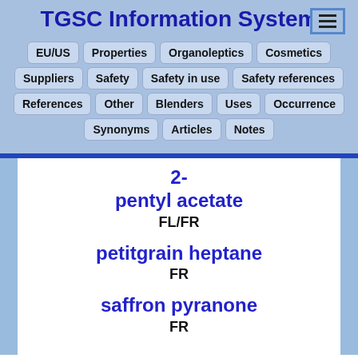TGSC Information System
EU/US | Properties | Organoleptics | Cosmetics | Suppliers | Safety | Safety in use | Safety references | References | Other | Blenders | Uses | Occurrence | Synonyms | Articles | Notes
2-pentyl acetate FL/FR
petitgrain heptane FR
saffron pyranone FR
marine